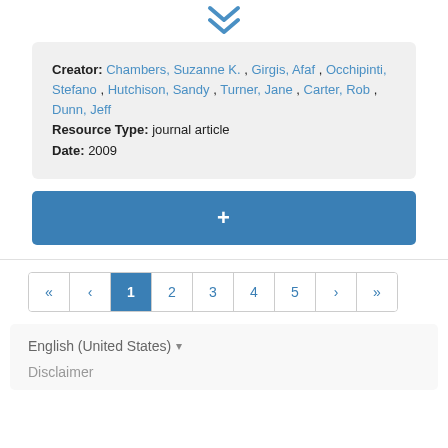[Figure (other): Double chevron down arrow icon in blue]
Creator: Chambers, Suzanne K. , Girgis, Afaf , Occhipinti, Stefano , Hutchison, Sandy , Turner, Jane , Carter, Rob , Dunn, Jeff
Resource Type: journal article
Date: 2009
+
« ‹ 1 2 3 4 5 › »
English (United States) ▾
Disclaimer